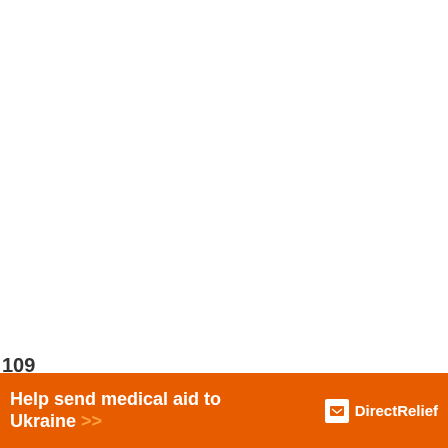109
SHARES
However, ideal Fartlek training is
We use cookies on our website to give you the most relevant experience by remembering your preferences and repeat visits. By clicking “Accept”, you consent to the use of ALL the cookies.
Do not sell my personal information.
Help send medical aid to Ukraine >>